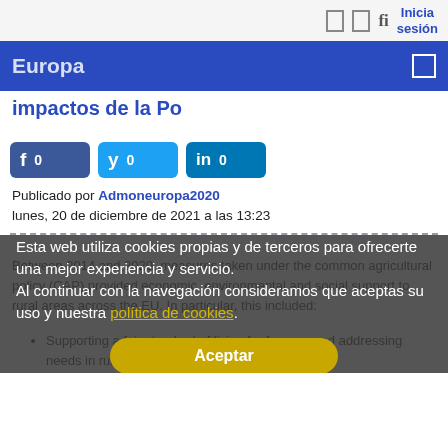Inicia sesión
Europa
impactos de la Po...
[Figure (infographic): Social share buttons: Facebook (0), Twitter (0), LinkedIn (0)]
Publicado por Admoneuropa2020
lunes, 20 de diciembre de 2021 a las 13:23
Between 2014 and 2020, measures taken under the common agricultural policy (CAP) provided economic, environmental and social support to rural areas across the EU. In particular, this included:
Supporting a fair standard of living for farmers and addressing needs in rural areas (especially
Esta web utiliza cookies propias y de terceros para ofrecerte una mejor experiencia y servicio.
Al continuar con la navegación consideramos que aceptas su uso y nuestra política de cookies.
Aceptar